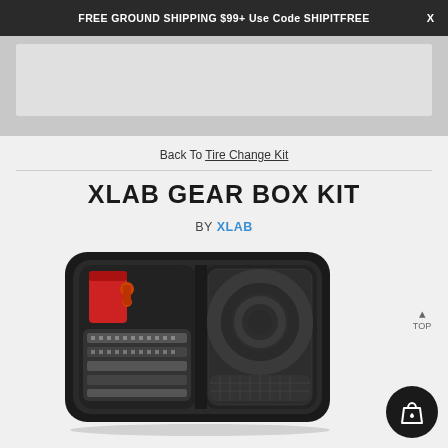FREE GROUND SHIPPING $99+ Use Code SHIPITFREE
[Figure (screenshot): Partial product image strip at top of page, gray background]
Back To Tire Change Kit
XLAB GEAR BOX KIT
BY XLAB
[Figure (photo): Open black hard-shell case containing XLAB Gear Box Kit items: red CO2 inflator, metal valves, tire levers, spare tube coiled in mesh pocket on right side]